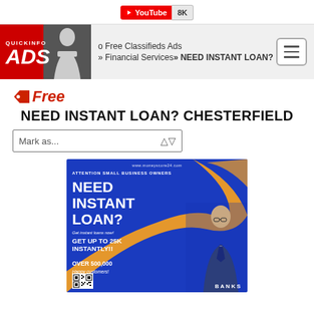[Figure (screenshot): YouTube subscribe button showing 8K subscribers]
[Figure (logo): QuickInfo ADS logo in red with woman silhouette photo]
o Free Classifieds Ads
» Financial Services » NEED INSTANT LOAN?
Free
NEED INSTANT LOAN? CHESTERFIELD
Mark as...
[Figure (photo): Advertisement banner for moneyscore24.com - Need Instant Loan for small business owners. Get up to 25K instantly. Over 500,000 happy customers. Banks. Blue background with orange swoosh, man in suit.]